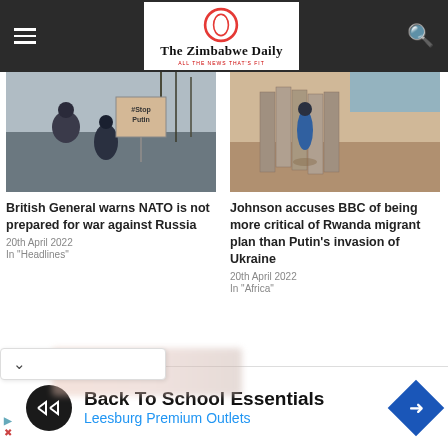The Zimbabwe Daily
[Figure (photo): Protest scene with person holding #Stop Putin sign, bare trees in background]
[Figure (photo): Refugee camp scene with person in blue clothing near corrugated metal fence]
British General warns NATO is not prepared for war against Russia
20th April 2022
In "Headlines"
Johnson accuses BBC of being more critical of Rwanda migrant plan than Putin's invasion of Ukraine
20th April 2022
In "Africa"
Back To School Essentials
Leesburg Premium Outlets